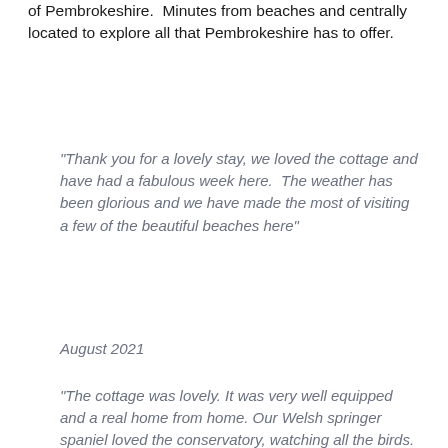of Pembrokeshire.  Minutes from beaches and centrally located to explore all that Pembrokeshire has to offer.
"Thank you for a lovely stay, we loved the cottage and have had a fabulous week here.  The weather has been glorious and we have made the most of visiting a few of the beautiful beaches here"
August 2021
"The cottage was lovely. It was very well equipped and a real home from home. Our Welsh springer spaniel loved the conservatory, watching all the birds. It was our first time in this